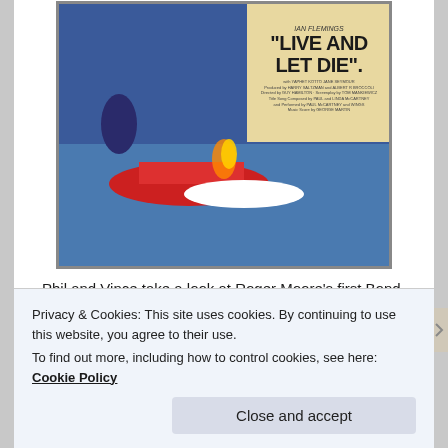[Figure (photo): Movie poster for 'Live and Let Die' - Ian Fleming's James Bond film. Shows action scene with boats and various characters. Text reads Ian Fleming's 'LIVE AND LET DIE' with credits including Yaphet Kotto, Jane Seymour, Harry Saltzman, Albert R. Broccoli, Guy Hamilton, Tom Mankiewicz, Paul and Linda McCartney, Paul McCartney and Wings, George Martin.]
Phil and Vince take a look at Roger Moore's first Bond movie, Live and Let Die.
Click here to listen to or download Episode 134.
This podcast is available here but it would be better for us and easier for you if you made us a part of your feed
Privacy & Cookies: This site uses cookies. By continuing to use this website, you agree to their use.
To find out more, including how to control cookies, see here: Cookie Policy
Close and accept